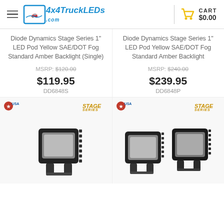4x4TruckLEDs.com | CART $0.00
Diode Dynamics Stage Series 1" LED Pod Yellow SAE/DOT Fog Standard Amber Backlight (Single)
MSRP: $120.00
$119.95
DD6848S
Diode Dynamics Stage Series 1" LED Pod Yellow SAE/DOT Fog Standard Amber Backlight
MSRP: $240.00
$239.95
DD6848P
[Figure (photo): Single LED pod light with black housing and heat sink fins, shown with Made in USA and Stage Series badges]
[Figure (photo): Pair of LED pod lights with black housing and heat sink fins, shown with Made in USA and Stage Series badges]